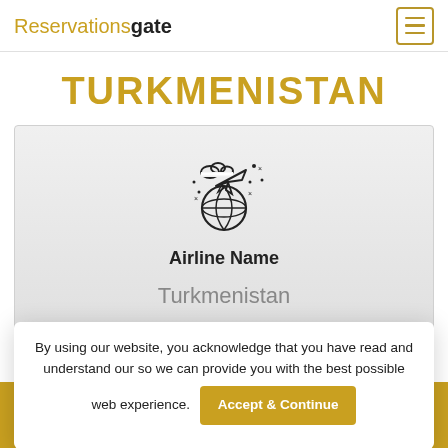Reservationsgate
TURKMENISTAN
[Figure (illustration): Airplane flying over a globe with clouds and sparkle stars icon]
Airline Name
Turkmenistan
By using our website, you acknowledge that you have read and understand our so we can provide you with the best possible web experience. Accept & Continue
Call Us: 1-805-410-9066
click to call